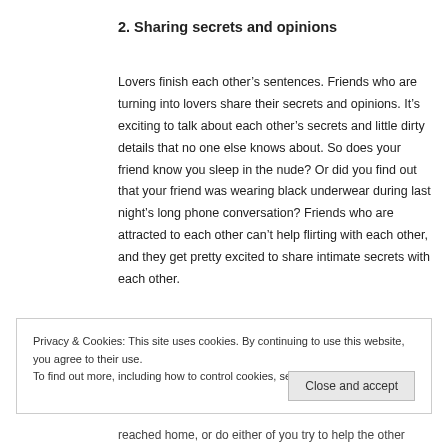2. Sharing secrets and opinions
Lovers finish each other’s sentences. Friends who are turning into lovers share their secrets and opinions. It’s exciting to talk about each other’s secrets and little dirty details that no one else knows about. So does your friend know you sleep in the nude? Or did you find out that your friend was wearing black underwear during last night’s long phone conversation? Friends who are attracted to each other can’t help flirting with each other, and they get pretty excited to share intimate secrets with each other.
Privacy & Cookies: This site uses cookies. By continuing to use this website, you agree to their use.
To find out more, including how to control cookies, see here: Cookie Policy
Close and accept
reached home, or do either of you try to help the other